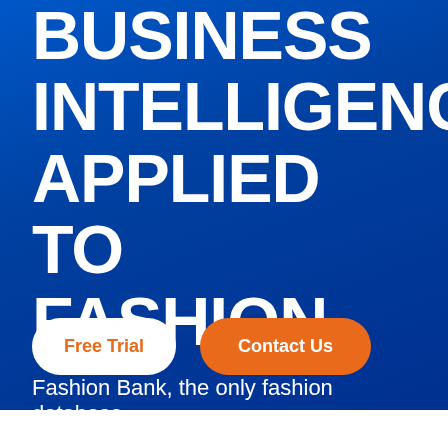BUSINESS INTELLIGENCE APPLIED TO FASHION
Fashion Bank, the only fashion database
Free Trial
Contact Us